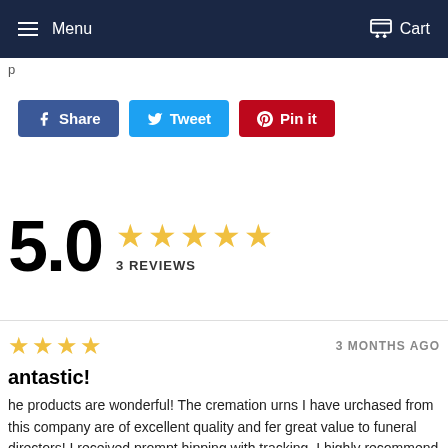Menu    Cart
Share  Tweet  Pin it
5.0  ★★★★★  3 REVIEWS
★★★★  3 MONTHS AGO
antastic!
he products are wonderful! The cremation urns I have urchased from this company are of excellent quality and fer great value to funeral directors! I received prompt hipping with tracking. I highly recommend other funeral